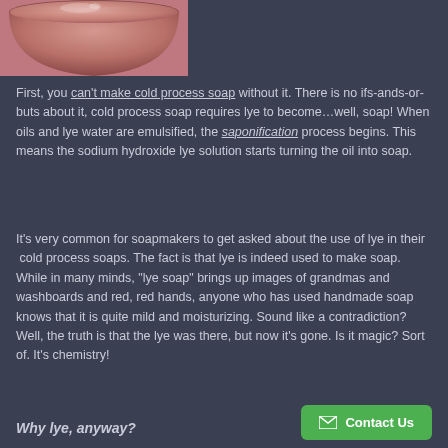[Figure (photo): Close-up photo of pink/rose-colored soap batter or liquid soap in a bowl, taken from slightly above.]
First, you can't make cold process soap without it. There is no ifs-ands-or-buts about it, cold process soap requires lye to become…well, soap! When oils and lye water are emulsified, the saponification process begins. This means the sodium hydroxide lye solution starts turning the oil into soap.
It's very common for soapmakers to get asked about the use of lye in their  cold process soaps. The fact is that lye is indeed used to make soap. While in many minds, "lye soap" brings up images of grandmas and washboards and red, red hands, anyone who has used handmade soap knows that it is quite mild and moisturizing. Sound like a contradiction? Well, the truth is that the lye was there, but now it's gone. Is it magic? Sort of. It's chemistry!
Why lye, anyway?